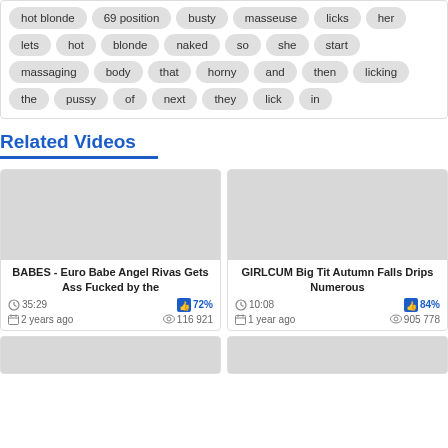hot blonde  69 position  busty  masseuse  licks  her
lets  hot  blonde  naked  so  she  start
massaging  body  that  horny  and  then  licking
the  pussy  of  next  they  lick  in
Related Videos
[Figure (screenshot): Video thumbnail placeholder (grey rectangle) for 'BABES - Euro Babe Angel Rivas Gets Ass Fucked by the']
BABES - Euro Babe Angel Rivas Gets Ass Fucked by the
35:29   72%   2 years ago   116 921
[Figure (screenshot): Video thumbnail placeholder (grey rectangle) for 'GIRLCUM Big Tit Autumn Falls Drips Numerous']
GIRLCUM Big Tit Autumn Falls Drips Numerous
10:08   84%   1 year ago   905 778
[Figure (screenshot): Video thumbnail placeholder (grey rectangle) - partial, bottom row left]
[Figure (screenshot): Video thumbnail placeholder (grey rectangle) - partial, bottom row right]